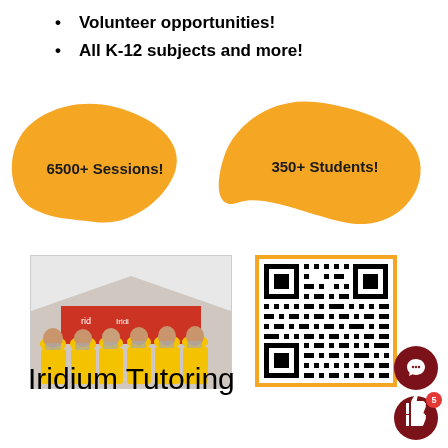Volunteer opportunities!
All K-12 subjects and more!
[Figure (infographic): Two orange blob/cloud shapes with text: '6500+ Sessions!' on the left blob and '350+ Students!' on the right blob]
[Figure (photo): Group photo of approximately 7 people wearing yellow/gold t-shirts standing under a white tent with a red banner behind them, all wearing masks]
[Figure (other): QR code with orange border for Iridium Tutoring]
Iridium Tutoring